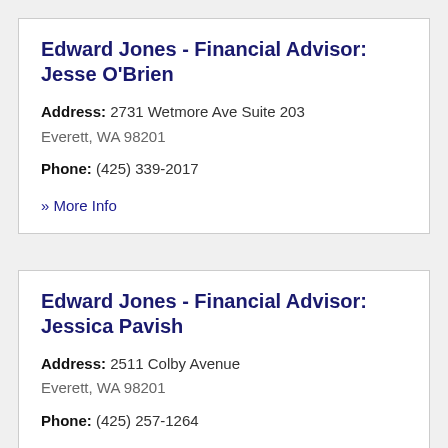Edward Jones - Financial Advisor: Jesse O'Brien
Address: 2731 Wetmore Ave Suite 203
Everett, WA 98201
Phone: (425) 339-2017
» More Info
Edward Jones - Financial Advisor: Jessica Pavish
Address: 2511 Colby Avenue
Everett, WA 98201
Phone: (425) 257-1264
» More Info